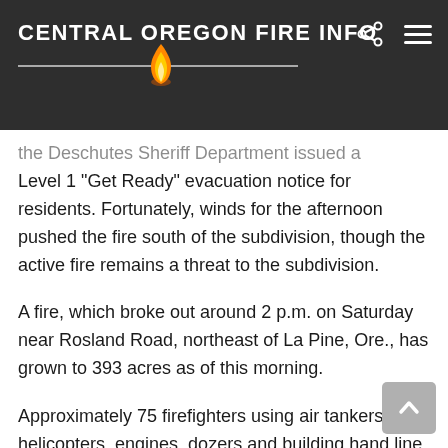CENTRAL OREGON FIRE INFO
the Deschutes Sheriff Department issued a Level 1 “Get Ready” evacuation notice for residents. Fortunately, winds for the afternoon pushed the fire south of the subdivision, though the active fire remains a threat to the subdivision.
A fire, which broke out around 2 p.m. on Saturday near Rosland Road, northeast of La Pine, Ore., has grown to 393 acres as of this morning.
Approximately 75 firefighters using air tankers, helicopters, engines, dozers and building hand line worked on the fire yesterday. By the end of